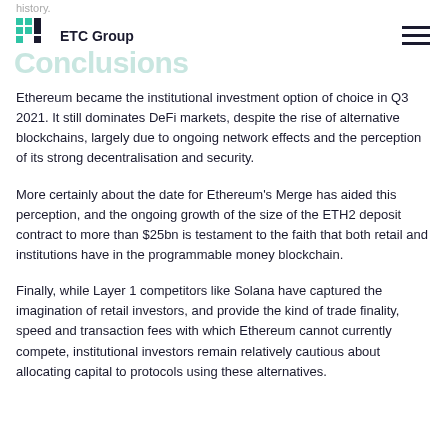history.
Conclusions
Ethereum became the institutional investment option of choice in Q3 2021. It still dominates DeFi markets, despite the rise of alternative blockchains, largely due to ongoing network effects and the perception of its strong decentralisation and security.
More certainly about the date for Ethereum's Merge has aided this perception, and the ongoing growth of the size of the ETH2 deposit contract to more than $25bn is testament to the faith that both retail and institutions have in the programmable money blockchain.
Finally, while Layer 1 competitors like Solana have captured the imagination of retail investors, and provide the kind of trade finality, speed and transaction fees with which Ethereum cannot currently compete, institutional investors remain relatively cautious about allocating capital to protocols using these alternatives.